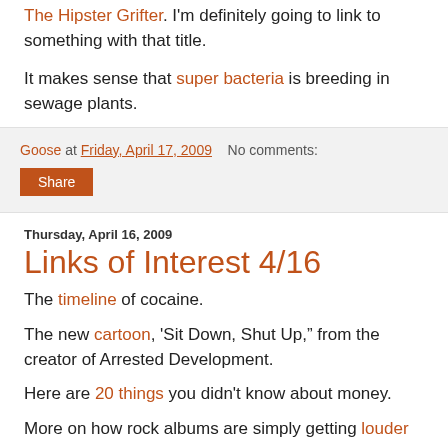The Hipster Grifter. I'm definitely going to link to something with that title.
It makes sense that super bacteria is breeding in sewage plants.
Goose at Friday, April 17, 2009   No comments:
Share
Thursday, April 16, 2009
Links of Interest 4/16
The timeline of cocaine.
The new cartoon, 'Sit Down, Shut Up," from the creator of Arrested Development.
Here are 20 things you didn't know about money.
More on how rock albums are simply getting louder